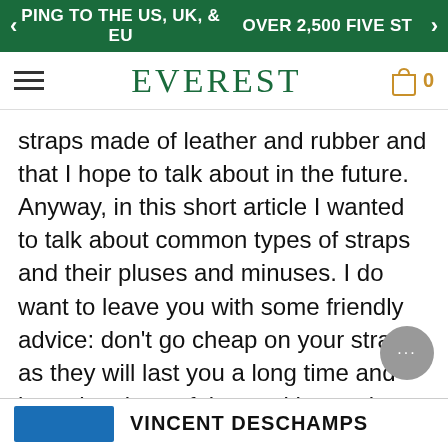PING TO THE US, UK, & EU   OVER 2,500 FIVE ST
EVEREST  0
straps made of leather and rubber and that I hope to talk about in the future. Anyway, in this short article I wanted to talk about common types of straps and their pluses and minuses. I do want to leave you with some friendly advice: don't go cheap on your straps as they will last you a long time and bear the signs of times with equal elegance as your watch will.
VINCENT DESCHAMPS